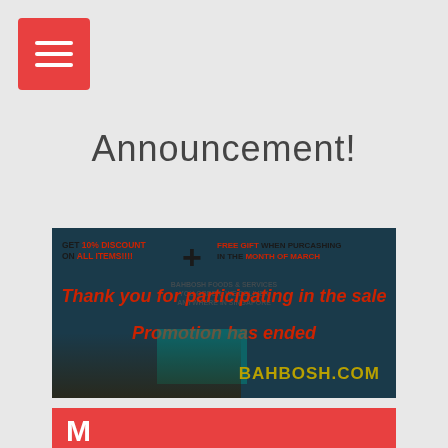[Figure (other): Red hamburger menu button with three white horizontal lines]
Announcement!
[Figure (infographic): Promotional banner for Bahbosh Foods & Services advertising 10% discount on all items plus free gift when purchasing in the month of March, with overlay text 'Thank you for participating in the sale' and 'Promotion has ended', website bahbosh.com]
[Figure (other): Red section at bottom with letter M and text starting with 'Th', with Strikingly site builder banner overlay in purple]